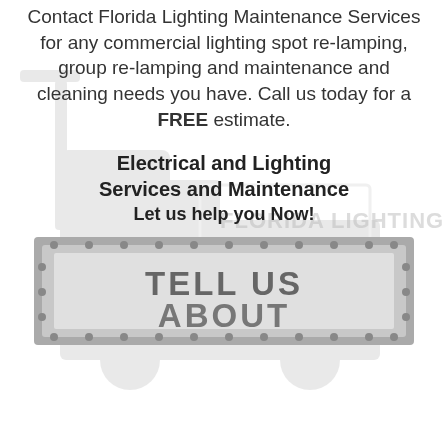Contact Florida Lighting Maintenance Services for any commercial lighting spot re-lamping, group re-lamping and maintenance and cleaning needs you have. Call us today for a FREE estimate.
[Figure (illustration): Faded background image of a Florida Lighting Maintenance Services truck with 'FLORIDA LIGHTING' text visible on the side]
Electrical and Lighting Services and Maintenance Let us help you Now!
[Figure (illustration): A metal sign with riveted border showing 'TELL US ABOUT' in bold dark letters]